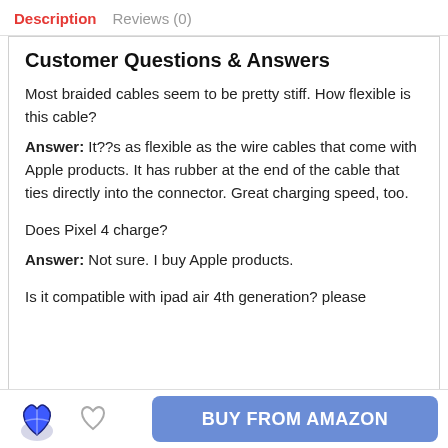Description   Reviews (0)
Customer Questions & Answers
Most braided cables seem to be pretty stiff. How flexible is this cable?
Answer: It??s as flexible as the wire cables that come with Apple products. It has rubber at the end of the cable that ties directly into the connector. Great charging speed, too.
Does Pixel 4 charge?
Answer: Not sure. I buy Apple products.
Is it compatible with ipad air 4th generation? please